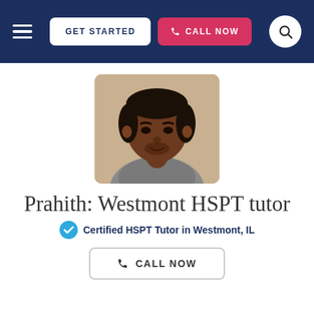GET STARTED | CALL NOW
[Figure (photo): Headshot photo of Prahith, a young man wearing a grey zip-up jacket and red shirt, photographed indoors against a beige wall.]
Prahith: Westmont HSPT tutor
Certified HSPT Tutor in Westmont, IL
CALL NOW